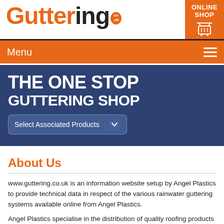[Figure (logo): Guttering.co.uk logo with orange 'Gutter' text and dark 'ing' text, with a small co.uk badge]
[Figure (infographic): Orange 'ONLINE SHOP' button with basket icon in top right corner]
Menu
THE ONE STOP GUTTERING SHOP
[Figure (screenshot): Select Associated Products dropdown button]
About Us
www.guttering.co.uk is an information website setup by Angel Plastics to provide technical data in respect of the various rainwater guttering systems available online from Angel Plastics.
Angel Plastics specialise in the distribution of quality roofing products and